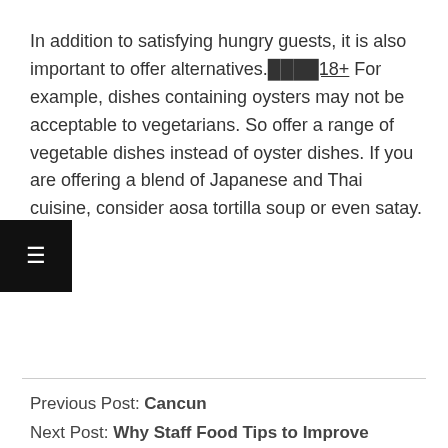In addition to satisfying hungry guests, it is also important to offer alternatives. ████18+ For example, dishes containing oysters may not be acceptable to vegetarians. So offer a range of vegetable dishes instead of oyster dishes. If you are offering a blend of Japanese and Thai cuisine, consider aosa tortilla soup or even satay.
Previous Post: Cancun
Next Post: Why Staff Food Tips to Improve Performance
Comments are closed, but trackbacks and pingbacks are open.